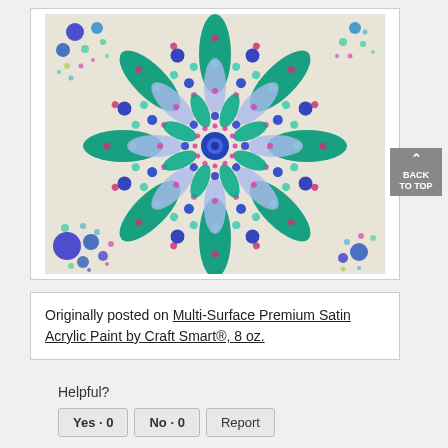[Figure (photo): A dot-painted mandala artwork on a white canvas. The mandala features intricate circular patterns with teal/green leaf shapes, blue and purple dots, pink dots, and light blue petal shapes radiating from a central blue circle. The corners of the canvas have decorative dot clusters in blue, purple, and teal.]
Originally posted on Multi-Surface Premium Satin Acrylic Paint by Craft Smart®, 8 oz.
Helpful?
Yes · 0
No · 0
Report